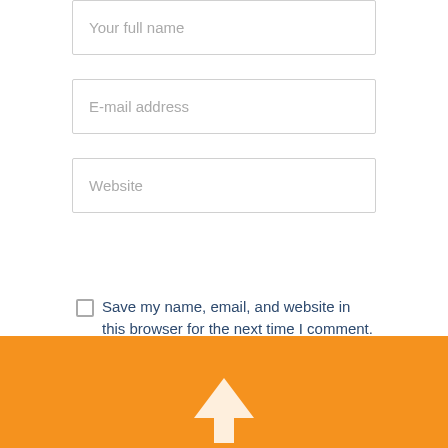Your full name
E-mail address
Website
Save my name, email, and website in this browser for the next time I comment.
Submit
[Figure (illustration): Orange footer bar with a white arrow icon (logo) at the bottom center, and an orange circular scroll-up button with a white upward arrow.]